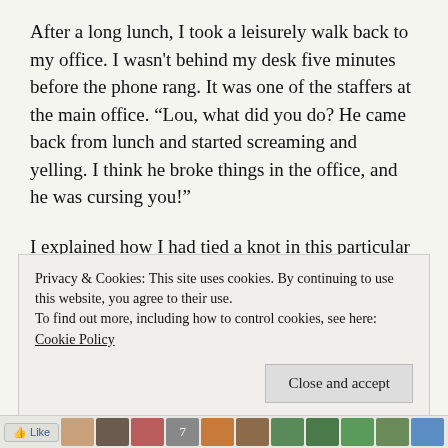After a long lunch, I took a leisurely walk back to my office. I wasn't behind my desk five minutes before the phone rang. It was one of the staffers at the main office. “Lou, what did you do? He came back from lunch and started screaming and yelling. I think he broke things in the office, and he was cursing you!”
I explained how I had tied a knot in this particular devil’s tail while making promises in my resignation to assist him in replacing me with someone equally skilled. Somehow I felt that I took the high road in
Privacy & Cookies: This site uses cookies. By continuing to use this website, you agree to their use.
To find out more, including how to control cookies, see here: Cookie Policy